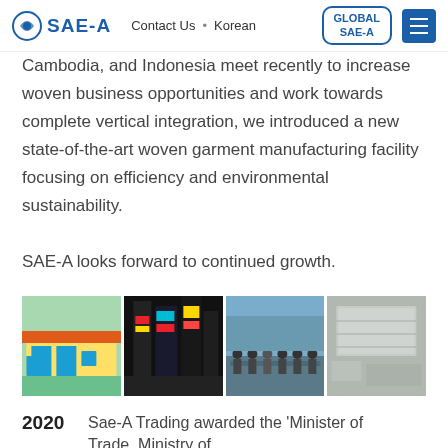SAE-A | Contact Us · Korean | GLOBAL SAE-A
Cambodia, and Indonesia meet recently to increase woven business opportunities and work towards complete vertical integration, we introduced a new state-of-the-art woven garment manufacturing facility focusing on efficiency and environmental sustainability.
SAE-A looks forward to continued growth.
[Figure (photo): Four photographs in a horizontal strip: a colorful industrial building exterior, Times Square at night with bright signs, a panel discussion with several people seated on stage, and an aerial/bird's-eye view of a large flat facility.]
2020    Sae-A Trading awarded the 'Minister of Trade, Ministry of …'